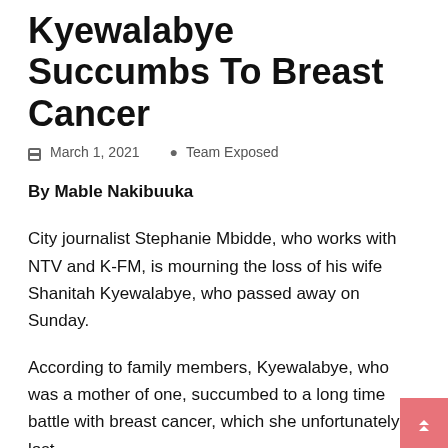Kyewalabye Succumbs To Breast Cancer
March 1, 2021   Team Exposed
By Mable Nakibuuka
City journalist Stephanie Mbidde, who works with NTV and K-FM, is mourning the loss of his wife Shanitah Kyewalabye, who passed away on Sunday.
According to family members, Kyewalabye, who was a mother of one, succumbed to a long time battle with breast cancer, which she unfortunately lost.
https://neglectsquad.com/zysmnz3jeq?key=97ee80fc9cd97d5f665cb77aabfc5601
Kyewalabye and Mbidde got officially hitched up after